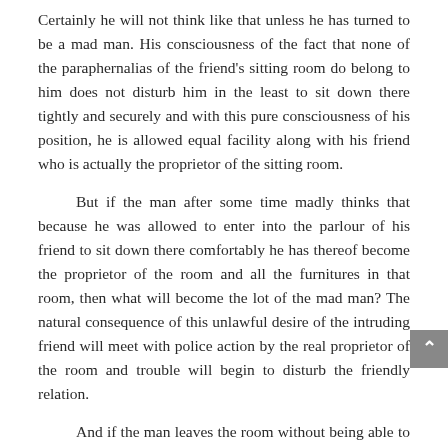Certainly he will not think like that unless he has turned to be a mad man. His consciousness of the fact that none of the paraphernalias of the friend's sitting room do belong to him does not disturb him in the least to sit down there tightly and securely and with this pure consciousness of his position, he is allowed equal facility along with his friend who is actually the proprietor of the sitting room.
But if the man after some time madly thinks that because he was allowed to enter into the parlour of his friend to sit down there comfortably he has thereof become the proprietor of the room and all the furnitures in that room, then what will become the lot of the mad man? The natural consequence of this unlawful desire of the intruding friend will meet with police action by the real proprietor of the room and trouble will begin to disturb the friendly relation.
And if the man leaves the room without being able to occupy it as his own property and impertinently tells his